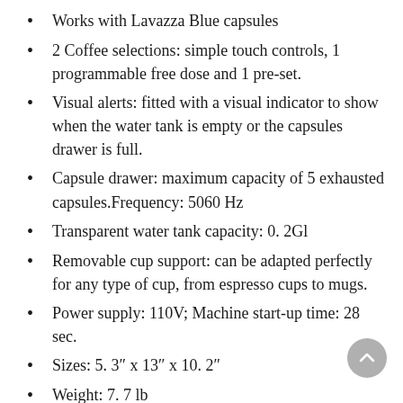Works with Lavazza Blue capsules
2 Coffee selections: simple touch controls, 1 programmable free dose and 1 pre-set.
Visual alerts: fitted with a visual indicator to show when the water tank is empty or the capsules drawer is full.
Capsule drawer: maximum capacity of 5 exhausted capsules.Frequency: 5060 Hz
Transparent water tank capacity: 0. 2Gl
Removable cup support: can be adapted perfectly for any type of cup, from espresso cups to mugs.
Power supply: 110V; Machine start-up time: 28 sec.
Sizes: 5. 3″ x 13″ x 10. 2″
Weight: 7. 7 lb